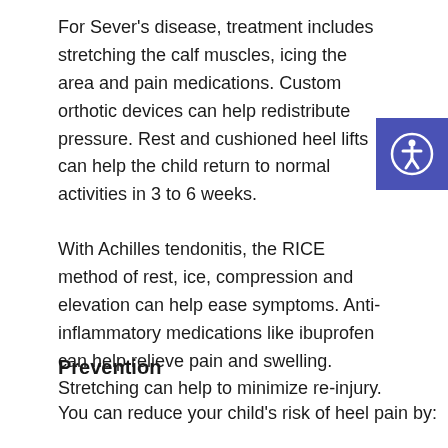For Sever's disease, treatment includes stretching the calf muscles, icing the area and pain medications. Custom orthotic devices can help redistribute pressure. Rest and cushioned heel lifts can help the child return to normal activities in 3 to 6 weeks.
[Figure (illustration): Accessibility icon button — blue square with white person/circle symbol]
With Achilles tendonitis, the RICE method of rest, ice, compression and elevation can help ease symptoms. Anti-inflammatory medications like ibuprofen can help relieve pain and swelling. Stretching can help to minimize re-injury.
Prevention
You can reduce your child's risk of heel pain by: